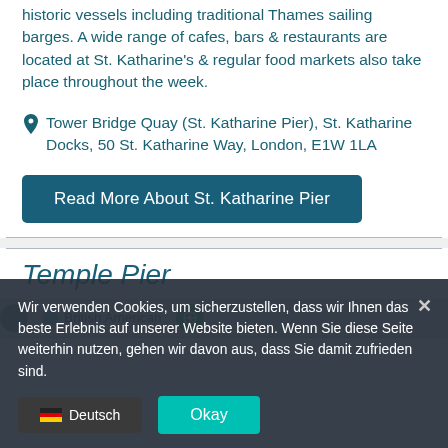historic vessels including traditional Thames sailing barges. A wide range of cafes, bars & restaurants are located at St. Katharine's & regular food markets also take place throughout the week.
Tower Bridge Quay (St. Katharine Pier), St. Katharine Docks, 50 St. Katharine Way, London, E1W 1LA
Read More About St. Katharine Pier
Temple Pier
British American
Wir verwenden Cookies, um sicherzustellen, dass wir Ihnen das beste Erlebnis auf unserer Website bieten. Wenn Sie diese Seite weiterhin nutzen, gehen wir davon aus, dass Sie damit zufrieden sind.
Deutsch
Okay